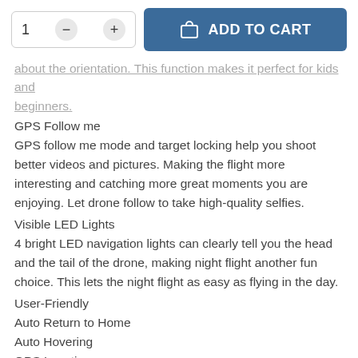[Figure (screenshot): E-commerce page header with quantity selector (showing '1', minus and plus buttons) and a blue 'ADD TO CART' button with shopping bag icon]
about the orientation. This function makes it perfect for kids and beginners.
GPS Follow me
GPS follow me mode and target locking help you shoot better videos and pictures. Making the flight more interesting and catching more great moments you are enjoying. Let drone follow to take high-quality selfies.
Visible LED Lights
4 bright LED navigation lights can clearly tell you the head and the tail of the drone, making night flight another fun choice. This lets the night flight as easy as flying in the day.
User-Friendly
Auto Return to Home
Auto Hovering
GPS Location
Specification
Item weight: 176g（FAA No Needed）
Dimension: 12 *7.6 *3.6 inches